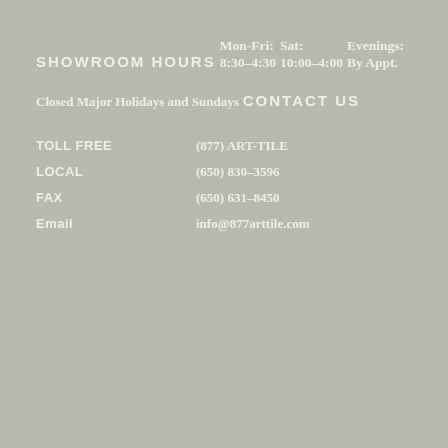SHOWROOM HOURS
Mon-Fri:
8:30–4:30
Sat:
10:00–4:00
Evenings:
By Appt.
Closed Major Holidays and Sundays
CONTACT US
TOLL FREE    (877) ART-TILE
LOCAL    (650) 830–3596
FAX    (650) 631–8450
Email    info@877arttile.com